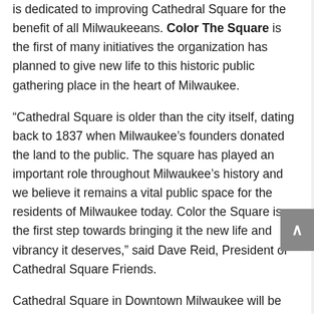is dedicated to improving Cathedral Square for the benefit of all Milwaukeeans. Color The Square is the first of many initiatives the organization has planned to give new life to this historic public gathering place in the heart of Milwaukee.
“Cathedral Square is older than the city itself, dating back to 1837 when Milwaukee’s founders donated the land to the public. The square has played an important role throughout Milwaukee’s history and we believe it remains a vital public space for the residents of Milwaukee today. Color the Square is the first step towards bringing it the new life and vibrancy it deserves,” said Dave Reid, President of Cathedral Square Friends.
Cathedral Square in Downtown Milwaukee will be more colorful next summer if the initiative of Cathedral Square Friends succeeds. The mission of Cathedral